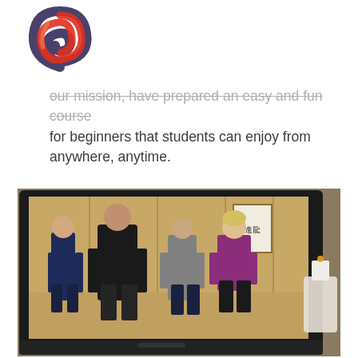[Figure (logo): Spiral logo with red and dark blue/grey tones, circular swirl design]
our mission, have prepared an easy and fun course for beginners that students can enjoy from anywhere, anytime.
[Figure (photo): A laptop screen showing four people standing in a tai chi or qigong stance in a studio with wooden panel walls and a framed calligraphy sign. A candle in a glass holder is visible to the right of the laptop. The people include two older men (one in black, one in navy), a younger person in grey, and an older woman in purple/magenta top.]